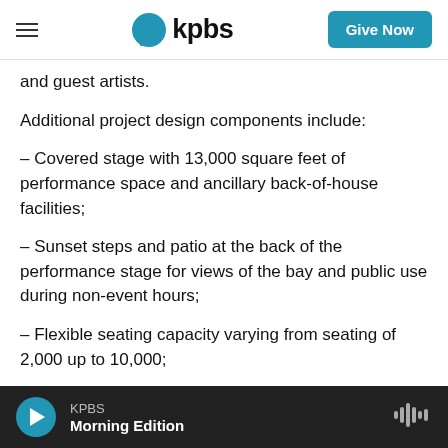kpbs | Give Now
and guest artists.
Additional project design components include:
– Covered stage with 13,000 square feet of performance space and ancillary back-of-house facilities;
– Sunset steps and patio at the back of the performance stage for views of the bay and public use during non-event hours;
– Flexible seating capacity varying from seating of 2,000 up to 10,000;
KPBS Morning Edition